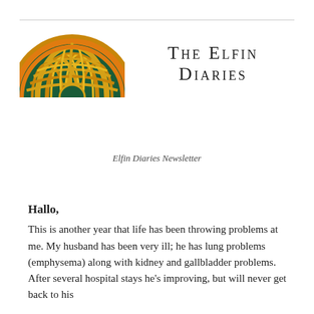[Figure (logo): Half-circle logo with golden tree/leaf Celtic knotwork design on green background with gold/orange border]
The Elfin Diaries
Elfin Diaries Newsletter
Hallo,
This is another year that life has been throwing problems at me. My husband has been very ill; he has lung problems (emphysema) along with kidney and gallbladder problems. After several hospital stays he's improving, but will never get back to his